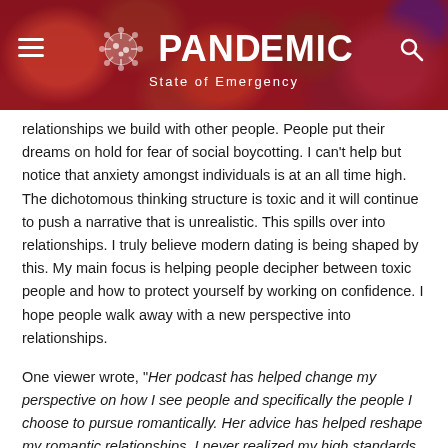[Figure (logo): Pandemic State of Emergency logo with coronavirus icon on red blood cell background header banner]
relationships we build with other people. People put their dreams on hold for fear of social boycotting. I can't help but notice that anxiety amongst individuals is at an all time high. The dichotomous thinking structure is toxic and it will continue to push a narrative that is unrealistic. This spills over into relationships. I truly believe modern dating is being shaped by this. My main focus is helping people decipher between toxic people and how to protect yourself by working on confidence. I hope people walk away with a new perspective into relationships.
One viewer wrote, "Her podcast has helped change my perspective on how I see people and specifically the people I choose to pursue romantically. Her advice has helped reshape my romantic relationships. I never realized my high standards were a projection of what I wanted and not so much what I encompassed. I'm glad someone took the risk on